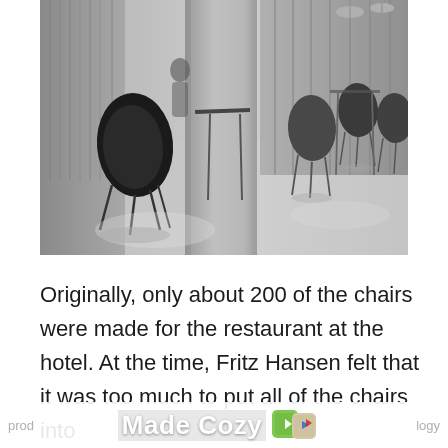[Figure (photo): Black and white photograph of a modern restaurant or hotel dining area with Drop chairs by Arne Jacobsen/Fritz Hansen. A large cylindrical column dominates the center of the image, with dining chairs and tables arranged on either side. The chairs have distinctive curved shell forms on thin metal legs. The space is open and airy with natural light.]
Originally, only about 200 of the chairs were made for the restaurant at the hotel. At the time, Fritz Hansen felt that it was too much to put all of the chairs into
prod                                                    logy